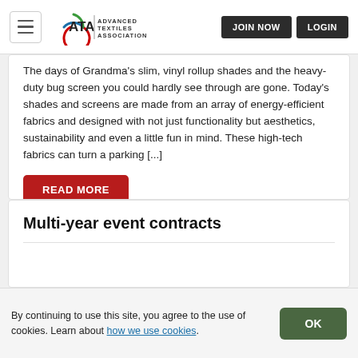ATA Advanced Textiles Association | JOIN NOW | LOGIN
The days of Grandma's slim, vinyl rollup shades and the heavy-duty bug screen you could hardly see through are gone. Today's shades and screens are made from an array of energy-efficient fabrics and designed with not just functionality but aesthetics, sustainability and even a little fun in mind. These high-tech fabrics can turn a parking [...]
READ MORE
Multi-year event contracts
By continuing to use this site, you agree to the use of cookies. Learn about how we use cookies. OK